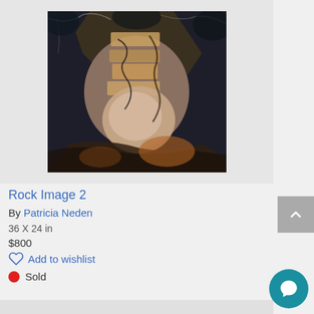[Figure (photo): Painting titled 'Rock Image 2' by Patricia Neden — detailed rocky landscape painting with ochre, brown and dark tones, shown in a white mat/frame on light grey background]
Rock Image 2
By Patricia Neden
36 X 24 in
$800
Add to wishlist
Sold
[Figure (photo): Bottom portion of next artwork card — shows top of another grey-background artwork display, partially visible]